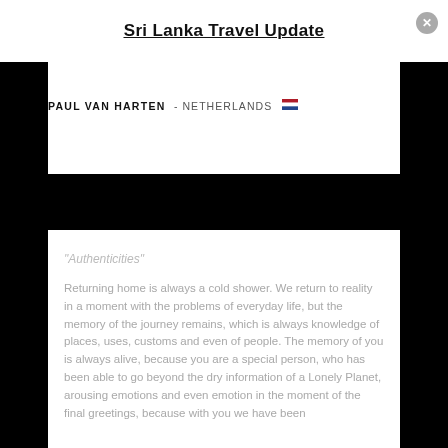Sri Lanka Travel Update
PAUL VAN HARTEN - NETHERLANDS 🇳🇱
"Authenticities"
Returning home is always a cold shower. We return to reality in a moment with the problems of everyday life, but the memory of the journey remains, which is always knowledge of places, uses, customs and even of people. The memory of you is always alive, because you are a special person, who has been able to go beyond the dry information of a Lonely Planet, arousing emotions and even emotion in the moment of the final greetings, because with you we have been